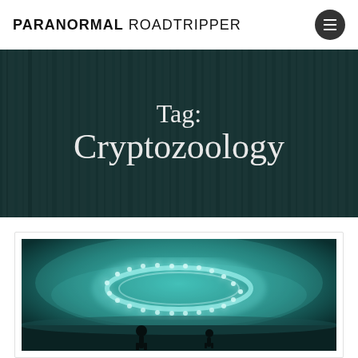PARANORMAL ROADTRIPPER
Tag: Cryptozoology
[Figure (photo): Aerial view of glowing teal circular UFO ring of lights hovering above two silhouetted figures in a misty field at night]